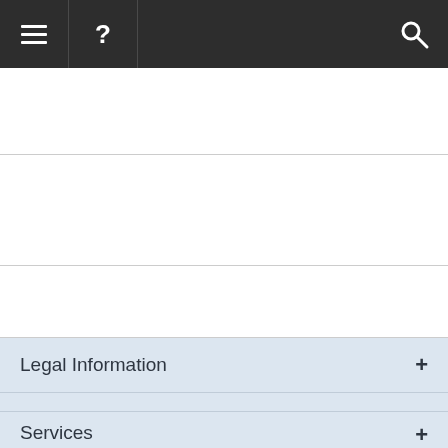[Figure (screenshot): Mobile app navigation bar with hamburger menu icon, question mark icon, and search icon on dark background]
Legal Information +
Products +
For Consumer +
Services +